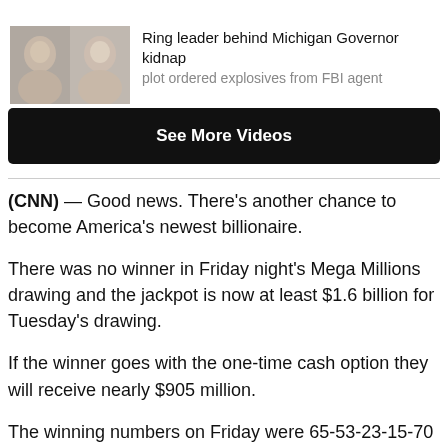[Figure (photo): Two mugshot-style headshots side by side in thumbnail image]
Ring leader behind Michigan Governor kidnap plot ordered explosives from FBI agent
See More Videos
(CNN) — Good news. There's another chance to become America's newest billionaire.
There was no winner in Friday night's Mega Millions drawing and the jackpot is now at least $1.6 billion for Tuesday's drawing.
If the winner goes with the one-time cash option they will receive nearly $905 million.
The winning numbers on Friday were 65-53-23-15-70 and the Mega Ball was 7.